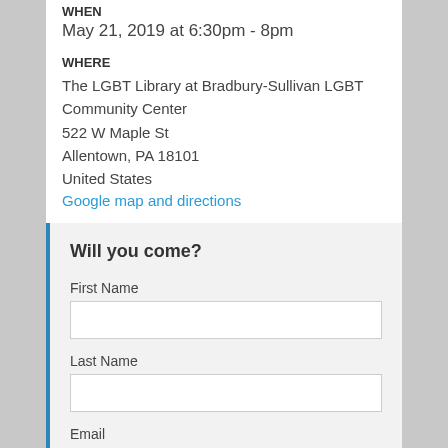WHEN
May 21, 2019 at 6:30pm - 8pm
WHERE
The LGBT Library at Bradbury-Sullivan LGBT Community Center
522 W Maple St
Allentown, PA 18101
United States
Google map and directions
Will you come?
First Name
Last Name
Email